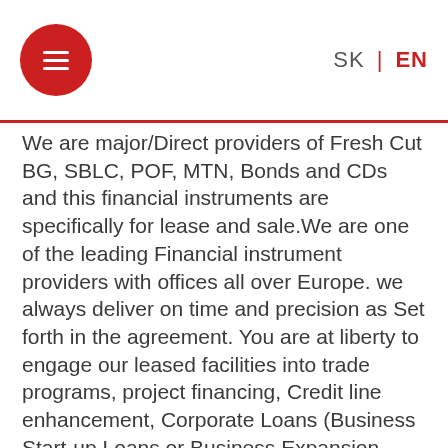SK | EN
We are major/Direct providers of Fresh Cut BG, SBLC, POF, MTN, Bonds and CDs and this financial instruments are specifically for lease and sale.We are one of the leading Financial instrument providers with offices all over Europe. we always deliver on time and precision as Set forth in the agreement. You are at liberty to engage our leased facilities into trade programs, project financing, Credit line enhancement, Corporate Loans (Business Start-up Loans or Business Expansion Loans), Equipment Procurement Loans (Industrial Equipment, Air crafts, Ships, etc.) as well as other financial instruments issued from AAA Rated bank such as HSBC Bank Hong Kong, HSBC Bank London, Deutsche Bank AG Frankfurt, Barclays Bank , Standard Chartered Bank and others on lease at the lowest available rates depending on the face value of the